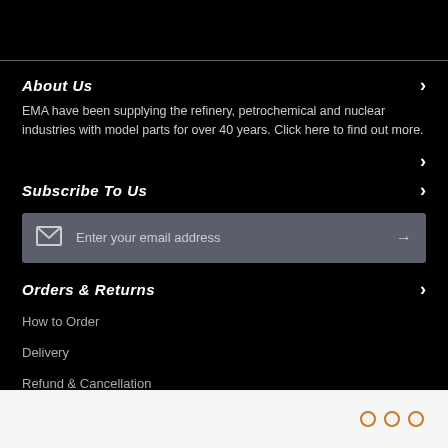About Us
EMA have been supplying the refinery, petrochemical and nuclear industries with model parts for over 40 years. Click here to find out more.
Subscribe To Us
Enter your email address
Orders & Returns
How to Order
Delivery
Refund & Cancellation